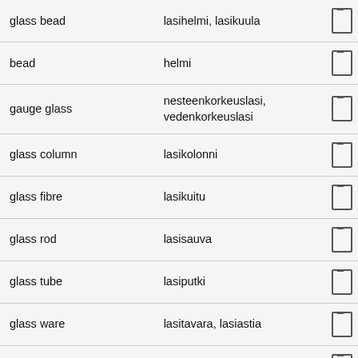| English | Finnish |  |
| --- | --- | --- |
| glass bead | lasihelmi, lasikuula |  |
| bead | helmi |  |
| gauge glass | nesteenkorkeuslasi, vedenkorkeuslasi |  |
| glass column | lasikolonni |  |
| glass fibre | lasikuitu |  |
| glass rod | lasisauva |  |
| glass tube | lasiputki |  |
| glass ware | lasitavara, lasiastia |  |
| glass wool | lasivilla |  |